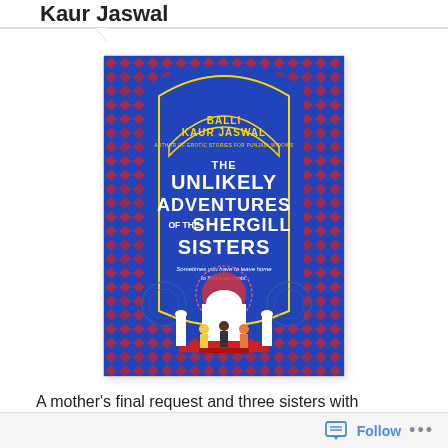Kaur Jaswal
[Figure (illustration): Book cover of 'The Unlikely Adventures of the Shergill Sisters' by Balli Kaur Jaswal. Blue background with Mughal arch motif in red and gold pattern. Title in large white bold text. Three female figures standing in front of a white domed building (Taj Mahal-like). Tagline: Sometimes you have to leave home to find your roots.]
A mother's final request and three sisters with seemingly nothing in common – a tried and true